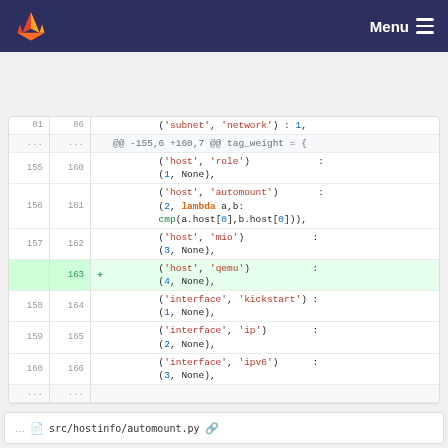GitLab navbar with Menu
Code diff showing additions to tag_weight dictionary in Python file, including ('subnet','network'):1, context lines, and new line +163 ('host','qemu'):(4,None)
src/hostinfo/automount.py file reference